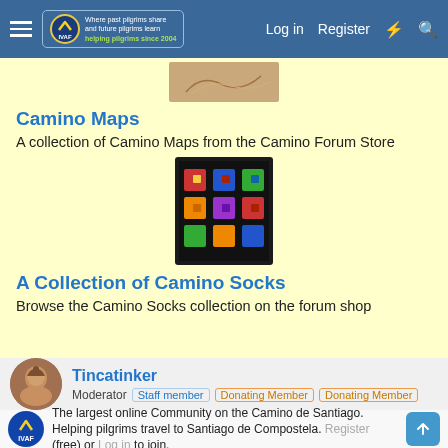Log in  Register
[Figure (photo): Camino map thumbnail image]
Camino Maps
A collection of Camino Maps from the Camino Forum Store
[Figure (photo): Colorful patterned Camino socks product photo]
A Collection of Camino Socks
Browse the Camino Socks collection on the forum shop
Tincatinker
Moderator  Staff member  Donating Member  Donating Member
The largest online Community on the Camino de Santiago. Helping pilgrims travel to Santiago de Compostela. Register (free) or Log in to join.